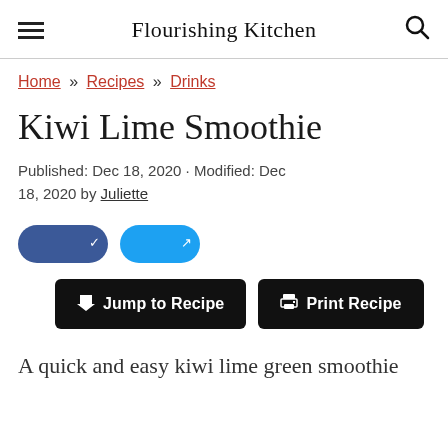Flourishing Kitchen
Home » Recipes » Drinks
Kiwi Lime Smoothie
Published: Dec 18, 2020 · Modified: Dec 18, 2020 by Juliette
[Figure (other): Social share buttons: Facebook (dark blue pill) and Twitter/share (light blue pill)]
Jump to Recipe   Print Recipe
A quick and easy kiwi lime green smoothie